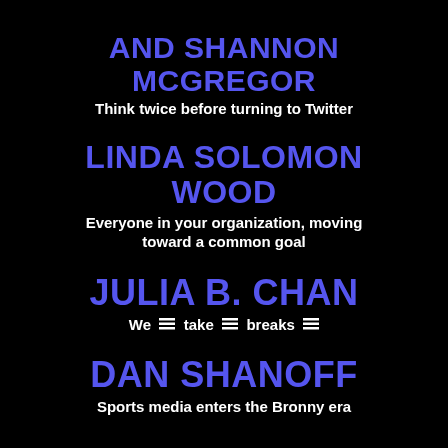AND SHANNON MCGREGOR
Think twice before turning to Twitter
LINDA SOLOMON WOOD
Everyone in your organization, moving toward a common goal
JULIA B. CHAN
We [list icon] take [list icon] breaks [list icon]
DAN SHANOFF
Sports media enters the Bronny era